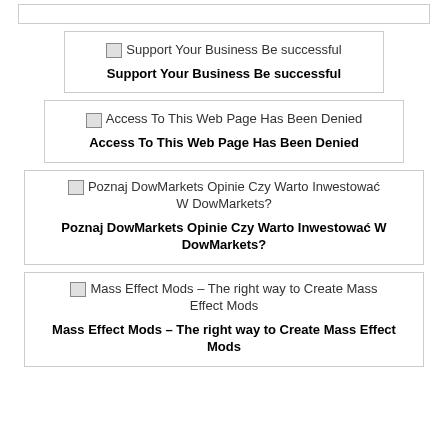[Figure (other): Top bar placeholder]
[Figure (other): Card with broken image: Support Your Business Be successful]
Support Your Business Be successful
[Figure (other): Card with broken image: Access To This Web Page Has Been Denied]
Access To This Web Page Has Been Denied
[Figure (other): Card with broken image: Poznaj DowMarkets Opinie Czy Warto Inwestować W DowMarkets?]
Poznaj DowMarkets Opinie Czy Warto Inwestować W DowMarkets?
[Figure (other): Card with broken image: Mass Effect Mods – The right way to Create Mass Effect Mods]
Mass Effect Mods – The right way to Create Mass Effect Mods